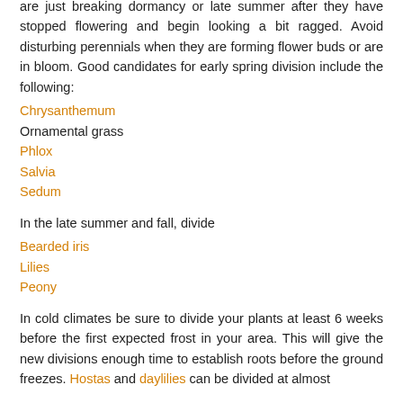are just breaking dormancy or late summer after they have stopped flowering and begin looking a bit ragged. Avoid disturbing perennials when they are forming flower buds or are in bloom. Good candidates for early spring division include the following:
Chrysanthemum
Ornamental grass
Phlox
Salvia
Sedum
In the late summer and fall, divide
Bearded iris
Lilies
Peony
In cold climates be sure to divide your plants at least 6 weeks before the first expected frost in your area. This will give the new divisions enough time to establish roots before the ground freezes. Hostas and daylilies can be divided at almost